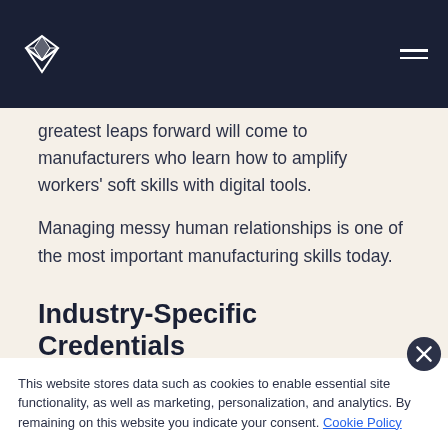[Logo] [Hamburger menu]
greatest leaps forward will come to manufacturers who learn how to amplify workers' soft skills with digital tools.
Managing messy human relationships is one of the most important manufacturing skills today.
Industry-Specific Credentials
This website stores data such as cookies to enable essential site functionality, as well as marketing, personalization, and analytics. By remaining on this website you indicate your consent. Cookie Policy